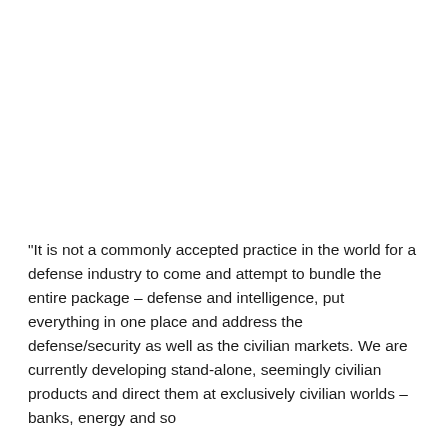"It is not a commonly accepted practice in the world for a defense industry to come and attempt to bundle the entire package – defense and intelligence, put everything in one place and address the defense/security as well as the civilian markets. We are currently developing stand-alone, seemingly civilian products and direct them at exclusively civilian worlds – banks, energy and so